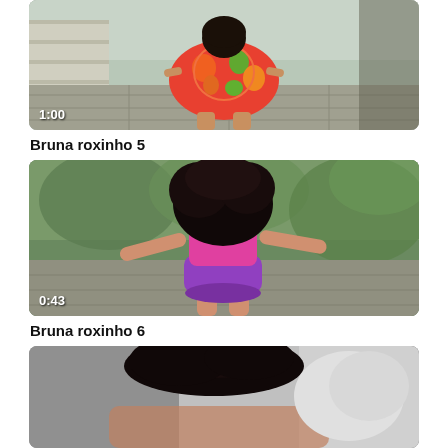[Figure (photo): Video thumbnail showing a person in a colorful red/orange/green patterned dress crouching outdoors on stone pavement near a wall. Duration label '1:00' shown in bottom left.]
Bruna roxinho 5
[Figure (photo): Video thumbnail showing a person from behind wearing a pink top and purple shorts, crouching/dancing outdoors. Duration label '0:43' shown in bottom left.]
Bruna roxinho 6
[Figure (photo): Partial video thumbnail showing a person with black hair outdoors, partially visible at bottom of page.]